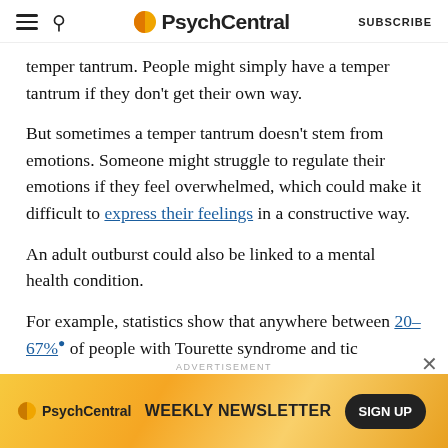PsychCentral | SUBSCRIBE
temper tantrum. People might simply have a temper tantrum if they don't get their own way.
But sometimes a temper tantrum doesn't stem from emotions. Someone might struggle to regulate their emotions if they feel overwhelmed, which could make it difficult to express their feelings in a constructive way.
An adult outburst could also be linked to a mental health condition.
For example, statistics show that anywhere between 20–67% of people with Tourette syndrome and tic
[Figure (screenshot): PsychCentral weekly newsletter advertisement banner with sign up button]